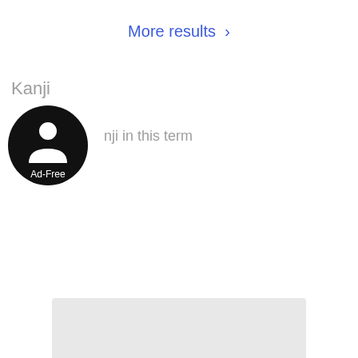More results >
Kanji
nji in this term
[Figure (illustration): Black circular avatar badge with a person silhouette icon and 'Ad-Free' text label below the icon]